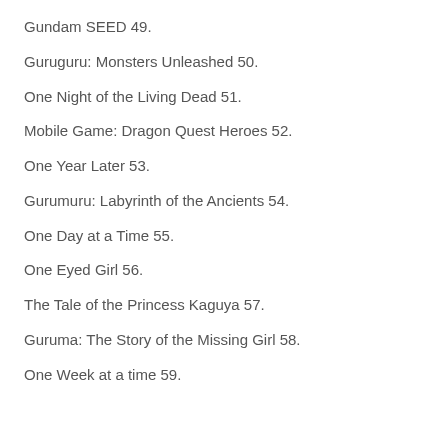Gundam SEED 49.
Guruguru: Monsters Unleashed 50.
One Night of the Living Dead 51.
Mobile Game: Dragon Quest Heroes 52.
One Year Later 53.
Gurumuru: Labyrinth of the Ancients 54.
One Day at a Time 55.
One Eyed Girl 56.
The Tale of the Princess Kaguya 57.
Guruma: The Story of the Missing Girl 58.
One Week at a time 59.